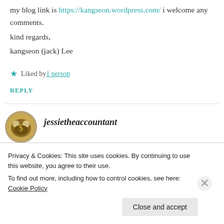my blog link is https://kangseon.wordpress.com/ i welcome any comments.
kind regards,
kangseon (jack) Lee
Liked by 1 person
REPLY
jessietheaccountant
Privacy & Cookies: This site uses cookies. By continuing to use this website, you agree to their use.
To find out more, including how to control cookies, see here: Cookie Policy
Close and accept